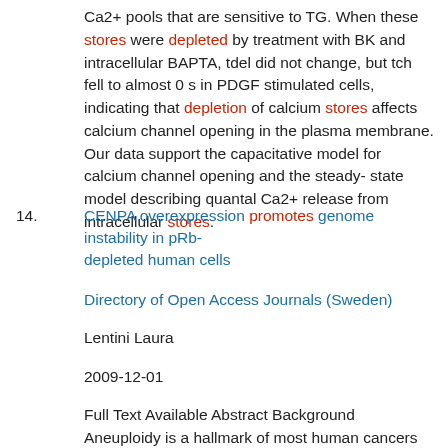Ca2+ pools that are sensitive to TG. When these stores were depleted by treatment with BK and intracellular BAPTA, tdel did not change, but tch fell to almost 0 s in PDGF stimulated cells, indicating that depletion of calcium stores affects calcium channel opening in the plasma membrane. Our data support the capacitative model for calcium channel opening and the steady-state model describing quantal Ca2+ release from intracellular stores.
14. CENPA overexpression promotes genome instability in pRb-depleted human cells
Directory of Open Access Journals (Sweden)
Lentini Laura
2009-12-01
Full Text Available Abstract Background Aneuploidy is a hallmark of most human cancers that arises as a consequence of chromosomal instability and it is frequently associated with centrosome amplification. Functional inactivation of the Retinoblastoma protein (pRb has been indicated as a cause